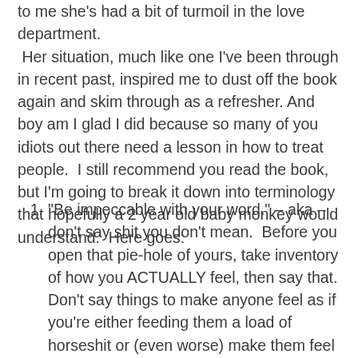to me she's had a bit of turmoil in the love department. Her situation, much like one I've been through in recent past, inspired me to dust off the book again and skim through as a refresher. And boy am I glad I did because so many of you idiots out there need a lesson in how to treat people. I still recommend you read the book, but I'm going to break it down into terminology that hopefully a 2 year old baby monkey would understand. Here goes:
"Be impeccable with your word." – aka – don't say shit you don't mean. Before you open that pie-hole of yours, take inventory of how you ACTUALLY feel, then say that. Don't say things to make anyone feel as if you're either feeding them a load of horseshit or (even worse) make them feel as if they're actually special to you when you know deep down you're not that into her/him. Be fucking real. I think dudes believe they have to handle women